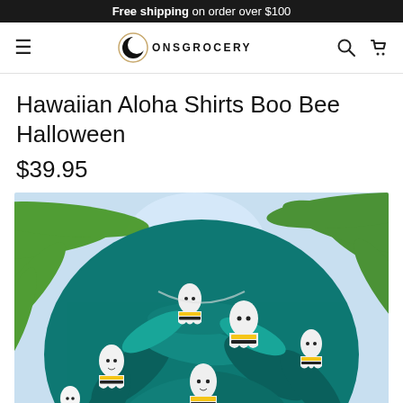Free shipping on order over $100
[Figure (logo): ONSGROCERY logo with circular moon icon]
Hawaiian Aloha Shirts Boo Bee Halloween
$39.95
[Figure (photo): Hawaiian Aloha shirt featuring ghost-bee characters on tropical teal leaf background, displayed outdoors near palm trees]